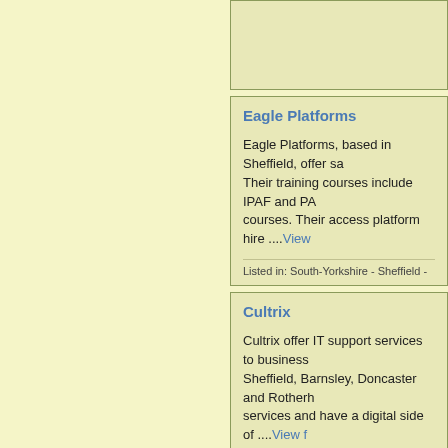[Top listing card - partial, cut off at top]
Eagle Platforms
Eagle Platforms, based in Sheffield, offer sa... Their training courses include IPAF and PA... courses. Their access platform hire ....View...
Listed in: South-Yorkshire - Sheffield -
Cultrix
Cultrix offer IT support services to business... Sheffield, Barnsley, Doncaster and Rotherh... services and have a digital side of ....View f...
Listed in: south-yorkshire - Sheffield -
Digital Impact Solutions
Digital Impact Solutions offer organic Sear... which get results! ....View full advert detail...